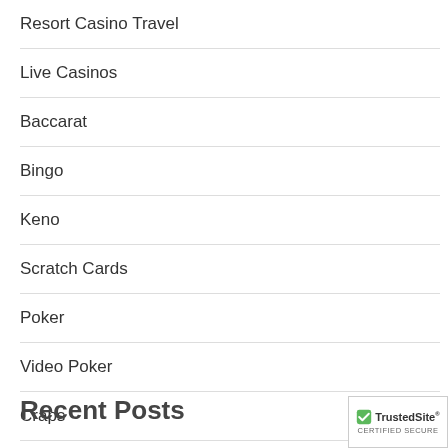Resort Casino Travel
Live Casinos
Baccarat
Bingo
Keno
Scratch Cards
Poker
Video Poker
Craps
Recent Posts
[Figure (logo): TrustedSite Certified Secure badge with green checkmark]